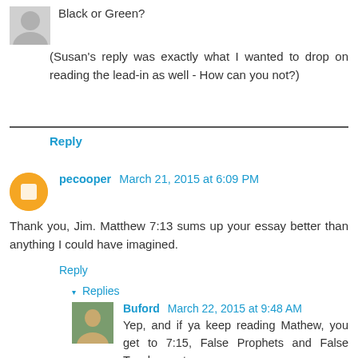Black or Green?
(Susan's reply was exactly what I wanted to drop on reading the lead-in as well - How can you not?)
Reply
pecooper March 21, 2015 at 6:09 PM
Thank you, Jim. Matthew 7:13 sums up your essay better than anything I could have imagined.
Reply
▾ Replies
Buford March 22, 2015 at 9:48 AM
Yep, and if ya keep reading Mathew, you get to 7:15, False Prophets and False Teachers, etc...